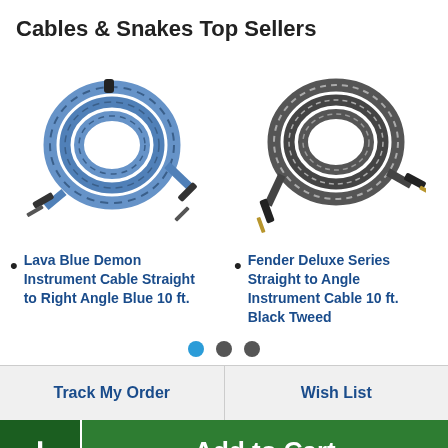Cables & Snakes Top Sellers
[Figure (photo): Coiled blue instrument cable with straight and right-angle plugs (Lava Blue Demon)]
[Figure (photo): Coiled black tweed instrument cable with straight and right-angle plugs (Fender Deluxe Series)]
Lava Blue Demon Instrument Cable Straight to Right Angle Blue 10 ft.
Fender Deluxe Series Straight to Angle Instrument Cable 10 ft. Black Tweed
Track My Order
Wish List
+ Add to Cart
EDUCATOR WEBSITE built to save music teachers time